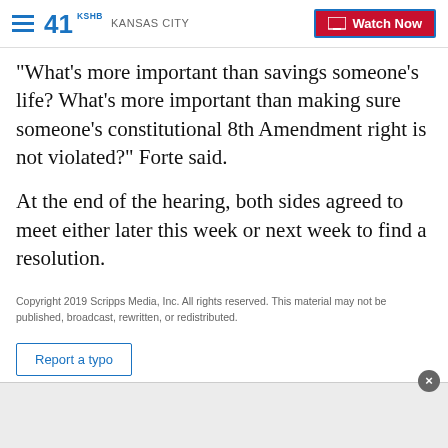41 KSHB KANSAS CITY | Watch Now
"What's more important than savings someone's life? What's more important than making sure someone's constitutional 8th Amendment right is not violated?" Forte said.
At the end of the hearing, both sides agreed to meet either later this week or next week to find a resolution.
Copyright 2019 Scripps Media, Inc. All rights reserved. This material may not be published, broadcast, rewritten, or redistributed.
Report a typo